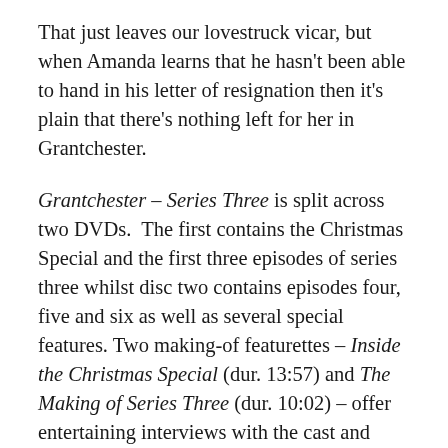That just leaves our lovestruck vicar, but when Amanda learns that he hasn't been able to hand in his letter of resignation then it's plain that there's nothing left for her in Grantchester.
Grantchester – Series Three is split across two DVDs. The first contains the Christmas Special and the first three episodes of series three whilst disc two contains episodes four, five and six as well as several special features. Two making-of featurettes – Inside the Christmas Special (dur. 13:57) and The Making of Series Three (dur. 10:02) – offer entertaining interviews with the cast and crew. Also included is a deleted scenes package (dur. 19:39).
With a strong cast of regulars put through the